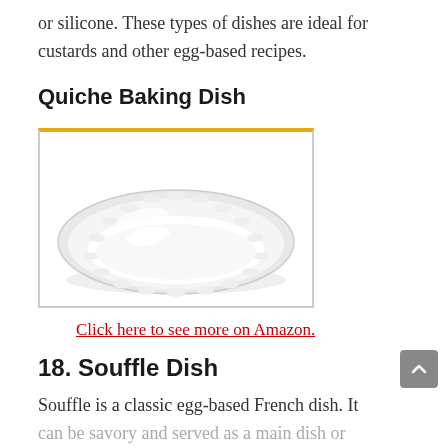or silicone. These types of dishes are ideal for custards and other egg-based recipes.
Quiche Baking Dish
[Figure (photo): A white ceramic quiche baking dish with fluted edges, viewed from above at a slight angle. The dish is round and shallow with a wide rim.]
Click here to see more on Amazon.
18. Souffle Dish
Souffle is a classic egg-based French dish. It can be savory and served as a main dish or sweet and served as a dessert. The food is